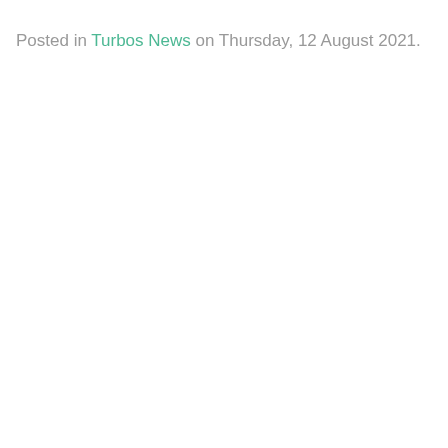Posted in Turbos News on Thursday, 12 August 2021.